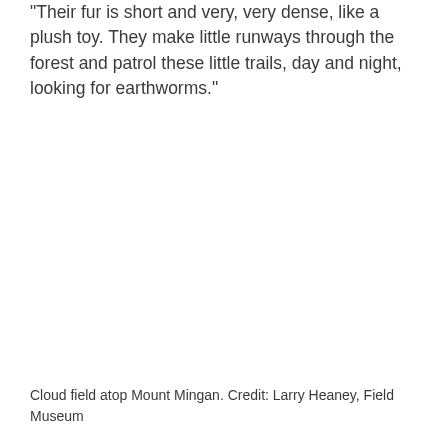"Their fur is short and very, very dense, like a plush toy. They make little runways through the forest and patrol these little trails, day and night, looking for earthworms."
Cloud field atop Mount Mingan. Credit: Larry Heaney, Field Museum